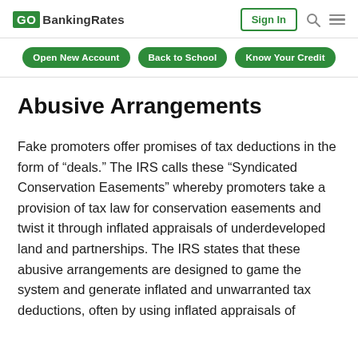GOBankingRates
Abusive Arrangements
Fake promoters offer promises of tax deductions in the form of “deals.” The IRS calls these “Syndicated Conservation Easements” whereby promoters take a provision of tax law for conservation easements and twist it through inflated appraisals of underdeveloped land and partnerships. The IRS states that these abusive arrangements are designed to game the system and generate inflated and unwarranted tax deductions, often by using inflated appraisals of